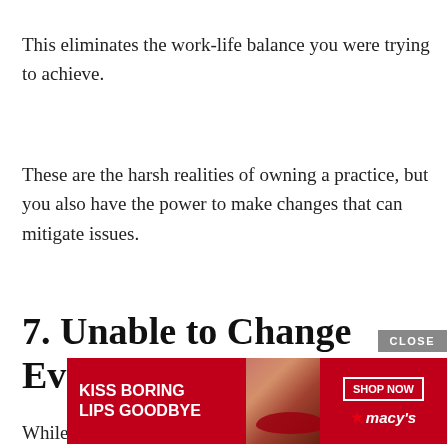This eliminates the work-life balance you were trying to achieve.
These are the harsh realities of owning a practice, but you also have the power to make changes that can mitigate issues.
7. Unable to Change Every Life
While ... not
[Figure (other): Advertisement overlay: Macy's ad showing 'KISS BORING LIPS GOODBYE' with a woman's face and red lips, SHOP NOW button and Macy's star logo. A CLOSE button appears above the ad.]